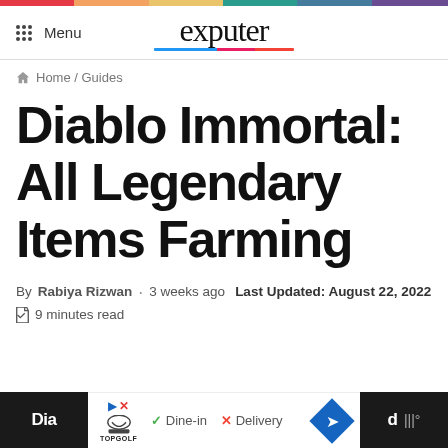exputer
Home / Guides
Diablo Immortal: All Legendary Items Farming
By Rabiya Rizwan · 3 weeks ago  Last Updated: August 22, 2022
9 minutes read
[Figure (screenshot): Advertisement banner at bottom of page showing Topgolf ad with Dine-in and Delivery options]